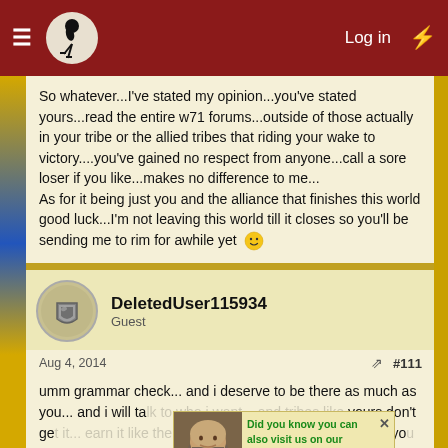Log in
So whatever...I've stated my opinion...you've stated yours...read the entire w71 forums...outside of those actually in your tribe or the allied tribes that riding your wake to victory....you've gained no respect from anyone...call a sore loser if you like...makes no difference to me...
As for it being just you and the alliance that finishes this world good luck...I'm not leaving this world till it closes so you'll be sending me to rim for awhile yet 🙂
DeletedUser115934
Guest
Aug 4, 2014
#111
umm grammar check... and i deserve to be there as much as you... and i will talk to who i want... and tribes like yours don't just get it... earn it like the rest of us do... this is the world... if you can't handle the weight of it then you should focus on a none gaming life style